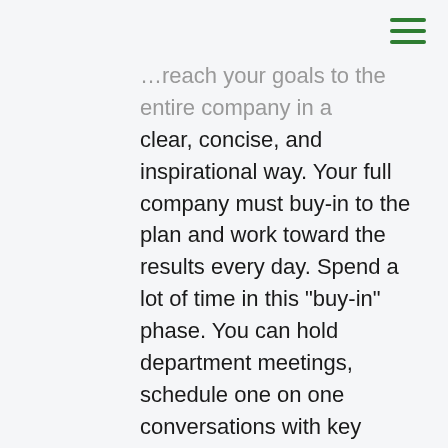…reach your goals to the entire company in a clear, concise, and inspirational way. Your full company must buy-in to the plan and work toward the results every day. Spend a lot of time in this "buy-in" phase. You can hold department meetings, schedule one on one conversations with key employees, even present the entire plan again. A team is only as good as their belief in the mission.
Remember, the goal of any KPI or goal is to create sales and more profit for the business. As part of the goal-setting process, understand how much additional revenue each initiative will bring in comparison to the overall sales and profit goal. This exercise will help determine if the tactics you plan support the global goals. For example, if you have KPIs that call for 12 additional projects to be sold in 2020 vs. 2019, tie that